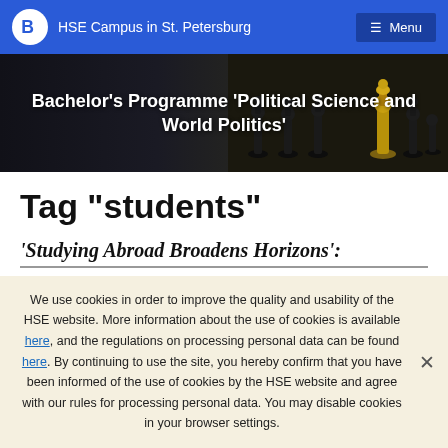HSE Campus in St. Petersburg
Bachelor's Programme ‘Political Science and World Politics’
Tag “students”
‘Studying Abroad Broadens Horizons’:
We use cookies in order to improve the quality and usability of the HSE website. More information about the use of cookies is available here, and the regulations on processing personal data can be found here. By continuing to use the site, you hereby confirm that you have been informed of the use of cookies by the HSE website and agree with our rules for processing personal data. You may disable cookies in your browser settings.